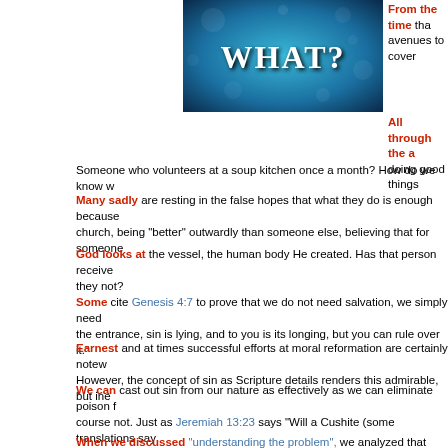[Figure (photo): Image showing the word WHAT? on a blue bokeh background]
From the time that avenues to cover
All through the a doing good things Someone who volunteers at a soup kitchen once a month? How do we know w
Many sadly are resting in the false hopes that what they do is enough because church, being "better" outwardly than someone else, believing that for someone
God looks at the vessel, the human body He created. Has that person receive they not?
Some cite Genesis 4:7 to prove that we do not need salvation, we simply need the entrance, sin is lying, and to you is its longing, but you can rule over it."
Earnest and at times successful efforts at moral reformation are certainly notew However, the concept of sin as Scripture details renders this admirable, but ine
We can cast out sin from our nature as effectively as we can eliminate poison f course not. Just as Jeremiah 13:23 says "Will a Cushite (some translations say become accustomed to do evil."
When we discussed "understanding the problem", we analyzed that when Ada ethnicity/religion/color or anything else that people might use to divide people ir We do not have what it takes on our own to be a "good person."